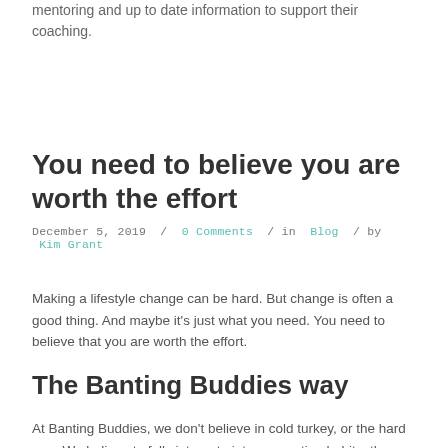mentoring and up to date information to support their coaching.
You need to believe you are worth the effort
December 5, 2019 / 0 Comments / in Blog / by Kim Grant
Making a lifestyle change can be hard. But change is often a good thing. And maybe it's just what you need. You need to believe that you are worth the effort.
The Banting Buddies way
At Banting Buddies, we don't believe in cold turkey, or the hard way. We believe to fully integrate into new eating habits, the secret to be...